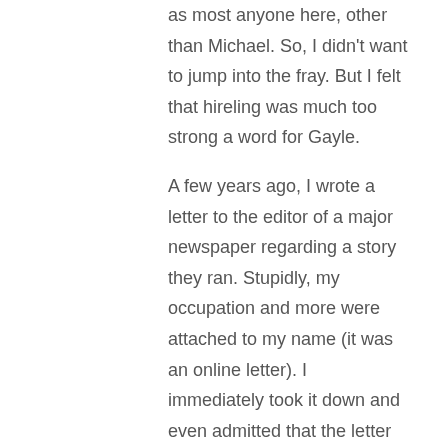as most anyone here, other than Michael. So, I didn't want to jump into the fray. But I felt that hireling was much too strong a word for Gayle. A few years ago, I wrote a letter to the editor of a major newspaper regarding a story they ran. Stupidly, my occupation and more were attached to my name (it was an online letter). I immediately took it down and even admitted that the letter was written in haste, with lots of emotion at play. Well, someone who read my letter sent a letter to my church, calling me a false prophet and worse. I know that I am not a false prophet, but I had done something irresponsible, so I understood why he said that. I wrote him back and we dialogued a few times. In a similar way, I can see why he was called a hireling. But when so many assented to that, I felt it was judgmental and unfair. When Tullian was hired by Willow Creek, I sent off an angry letter to the pastor of Willow Creek, calling into question his wisdom and judgment, accusing him of being opportunistic,